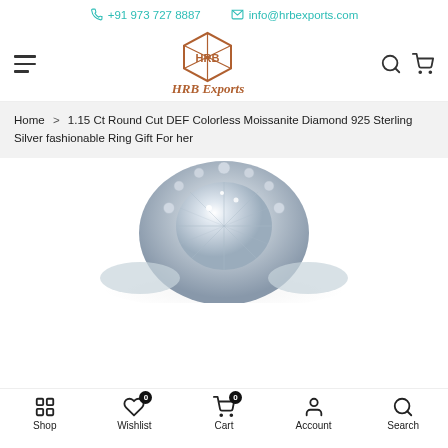+91 973 727 8887  info@hrbexports.com
[Figure (logo): HRB Exports logo with hexagonal diamond shape and text 'HRB Exports' in brown italic]
Home > 1.15 Ct Round Cut DEF Colorless Moissanite Diamond 925 Sterling Silver fashionable Ring Gift For her
[Figure (photo): Close-up photo of a sparkling moissanite diamond ring with round cut center stone and halo setting in silver]
Shop  Wishlist  Cart 0  Account  Search